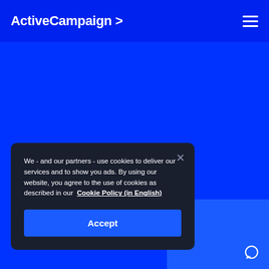ActiveCampaign >
[Figure (screenshot): Blue website background with ActiveCampaign branding]
We - and our partners - use cookies to deliver our services and to show you ads. By using our website, you agree to the use of cookies as described in our Cookie Policy (in English)
Accept